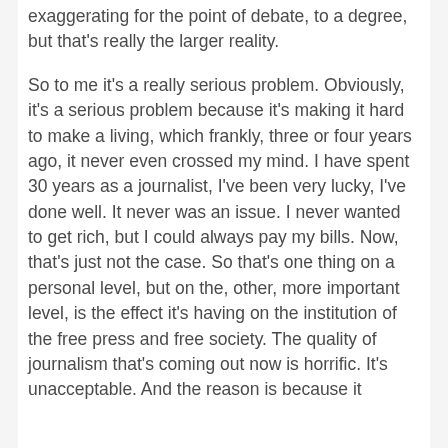exaggerating for the point of debate, to a degree, but that's really the larger reality.
So to me it's a really serious problem. Obviously, it's a serious problem because it's making it hard to make a living, which frankly, three or four years ago, it never even crossed my mind. I have spent 30 years as a journalist, I've been very lucky, I've done well. It never was an issue. I never wanted to get rich, but I could always pay my bills. Now, that's just not the case. So that's one thing on a personal level, but on the, other, more important level, is the effect it's having on the institution of the free press and free society. The quality of journalism that's coming out now is horrific. It's unacceptable. And the reason is because it